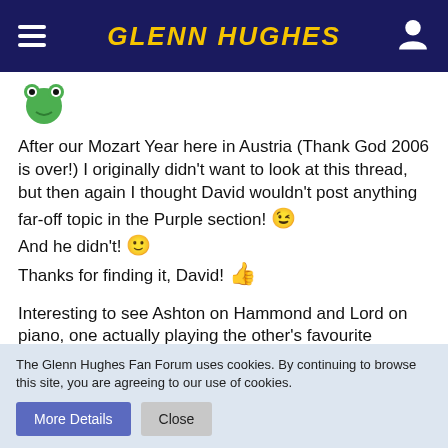GLENN HUGHES
[Figure (illustration): Green frog/alien emoji avatar icon]
After our Mozart Year here in Austria (Thank God 2006 is over!) I originally didn't want to look at this thread, but then again I thought David wouldn't post anything far-off topic in the Purple section! 😉
And he didn't! 🙂
Thanks for finding it, David! 👍
Interesting to see Ashton on Hammond and Lord on piano, one actually playing the other's favourite keyboard instrument.
The whole thing must be around somewhere - maybe DPAS could hint Schoener or the broadcaster to a release... 🙂 soon!
😎
The Glenn Hughes Fan Forum uses cookies. By continuing to browse this site, you are agreeing to our use of cookies.